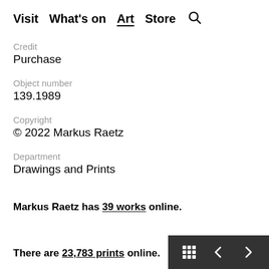Visit  What's on  Art  Store  🔍
Credit
Purchase
Object number
139.1989
Copyright
© 2022 Markus Raetz
Department
Drawings and Prints
Markus Raetz has 39 works online.
There are 23,783 prints online.